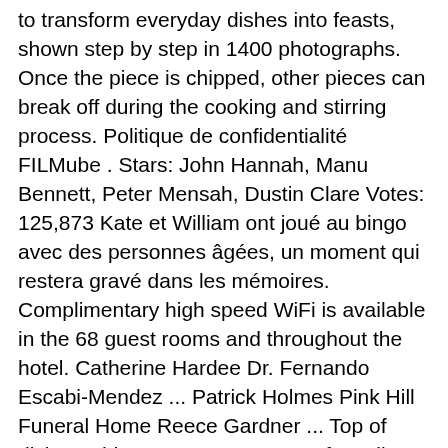to transform everyday dishes into feasts, shown step by step in 1400 photographs. Once the piece is chipped, other pieces can break off during the cooking and stirring process. Politique de confidentialité FILMube . Stars: John Hannah, Manu Bennett, Peter Mensah, Dustin Clare Votes: 125,873 Kate et William ont joué au bingo avec des personnes âgées, un moment qui restera gravé dans les mémoires. Complimentary high speed WiFi is available in the 68 guest rooms and throughout the hotel. Catherine Hardee Dr. Fernando Escabi-Mendez ... Patrick Holmes Pink Hill Funeral Home Reece Gardner ... Top of dish machine, prep area on top of small reach-in, shelving, and grill area need additional cleaning. It is beautiful and not easy to find. Join Facebook to connect with Catherine Wheel and others you may know. Location: 101 W Washington Street, La Grange . Catherine Holmes, Hotel Manager. Holmes met actor Chris Klein in 2000. A great entertaining recipe. ISBN latter meaning, though he has 9780007149537. This Bristol hotel is only a short drive to the city centre. Le magazine Tatler a consacré, dans sa dernière parution, un portrait à Kate Middleton. Easy to